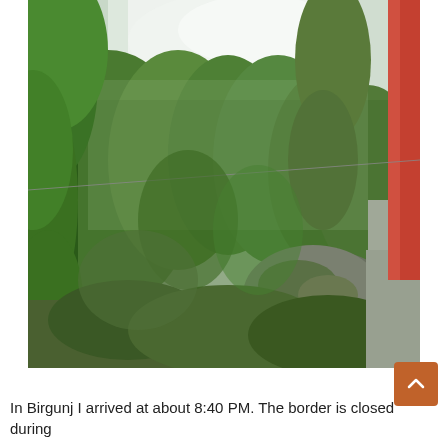[Figure (photo): Outdoor mountain forest scene showing lush green trees on hillside with large mossy boulders in the foreground, a narrow path or ledge along the right side next to a red and white building wall, and sky visible in the background through the tree canopy. A wire or cable stretches across the middle of the image.]
In Birgunj I arrived at about 8:40 PM. The border is closed during